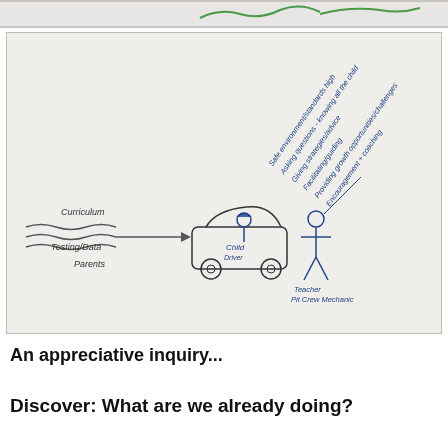[Figure (photo): Top cropped photo showing part of a hand-drawn diagram on paper with green marker lines visible at the top.]
[Figure (photo): Hand-drawn diagram on white paper showing a car with 'Child' labeled as 'Driver' inside, with wavy lines on the left labeled 'Curriculum', 'Testing/Data', and 'Parents' feeding into the car via an arrow. A stick figure stands to the right labeled 'Teacher Pit Crew Mechanic'. Diagonal text in upper right reads: 'Safe environment/standards high', 'Asking questions - knowing all the child', 'Giving strategies/advice', 'Facilitating/guiding', 'Providing growth opportunities/challenges', 'Encouragement + coaching'.]
An appreciative inquiry...
Discover: What are we already doing?